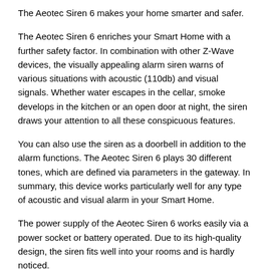The Aeotec Siren 6 makes your home smarter and safer.
The Aeotec Siren 6 enriches your Smart Home with a further safety factor. In combination with other Z-Wave devices, the visually appealing alarm siren warns of various situations with acoustic (110db) and visual signals. Whether water escapes in the cellar, smoke develops in the kitchen or an open door at night, the siren draws your attention to all these conspicuous features.
You can also use the siren as a doorbell in addition to the alarm functions. The Aeotec Siren 6 plays 30 different tones, which are defined via parameters in the gateway. In summary, this device works particularly well for any type of acoustic and visual alarm in your Smart Home.
The power supply of the Aeotec Siren 6 works easily via a power socket or battery operated. Due to its high-quality design, the siren fits well into your rooms and is hardly noticed.
Features: